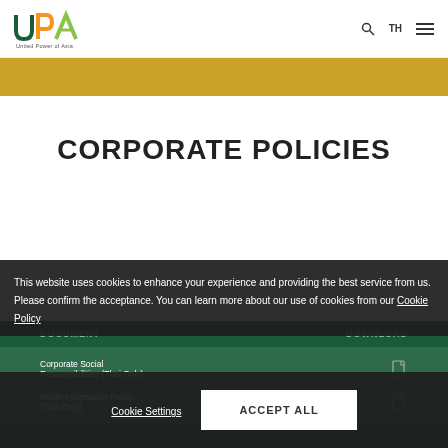United Power of Asia - UPA
CORPORATE POLICIES
| DOCUMENT | DOWNLOAD |
| --- | --- |
| Corporate Social Responsibilities (Thai Only) |  |
| Inside Information Policy (Thai Only) |  |
This website uses cookies to enhance your experience and providing the best service from us. Please confirm the acceptance. You can learn more about our use of cookies from our Cookie Policy
Cookie Settings
ACCEPT ALL